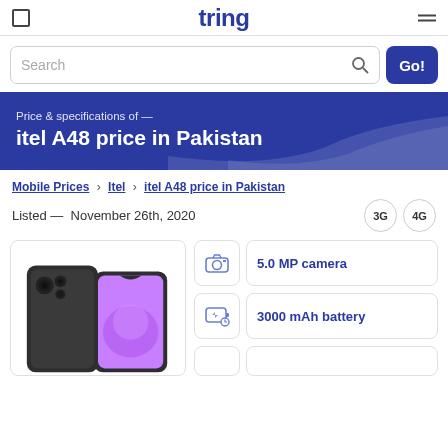tring
Search
itel A48 price in Pakistan
Price & specifications of —
Mobile Prices > Itel > itel A48 price in Pakistan
Listed — November 26th, 2020
5.0 MP camera
3000 mAh battery
[Figure (photo): itel A48 smartphone shown from back and front, dark color with purple screen]